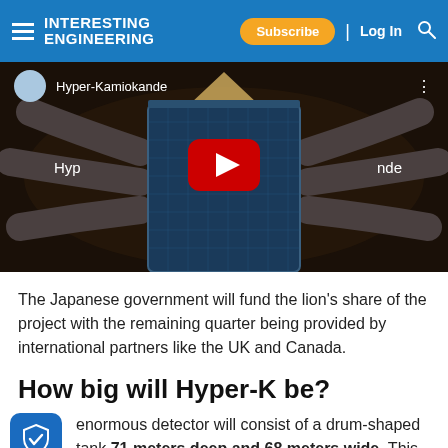INTERESTING ENGINEERING — Subscribe | Log In
[Figure (screenshot): YouTube video thumbnail showing a 3D render of the Hyper-Kamiokande underground neutrino detector. The video is titled 'Hyper-Kamiokande' and shows the drum-shaped detector tank with surrounding tunnels. A YouTube play button is overlaid in the center.]
The Japanese government will fund the lion's share of the project with the remaining quarter being provided by international partners like the UK and Canada.
How big will Hyper-K be?
enormous detector will consist of a drum-shaped tank 71 meters deep and 68 meters wide. This